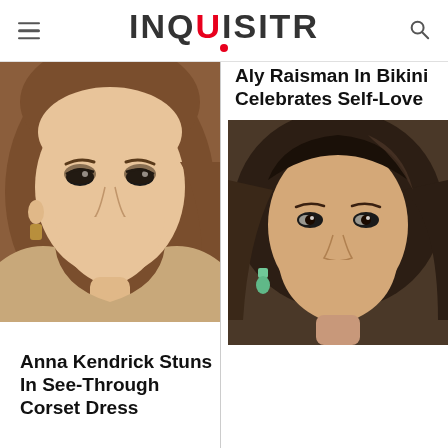INQUISITR
[Figure (photo): Close-up portrait photo of Anna Kendrick, a woman with brown hair and dark eye makeup]
Anna Kendrick Stuns In See-Through Corset Dress
Aly Raisman In Bikini Celebrates Self-Love
[Figure (photo): Close-up portrait photo of Aly Raisman, a woman with dark hair and green earrings]